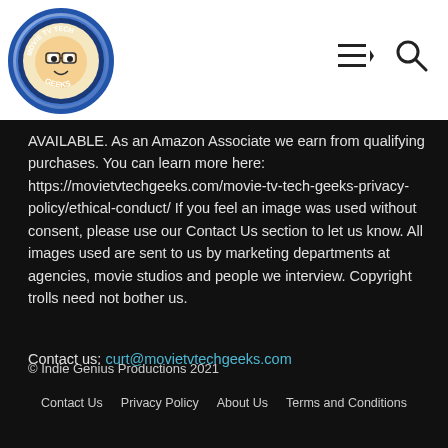[Figure (logo): Movie TV Tech Geeks circular logo with blue border]
AVAILABLE. As an Amazon Associate we earn from qualifying purchases. You can learn more here: https://movietvtechgeeks.com/movie-tv-tech-geeks-privacy-policy/ethical-conduct/ If you feel an image was used without consent, please use our Contact Us section to let us know. All images used are sent to us by marketing departments at agencies, movie studios and people we interview. Copyright trolls need not bother us.
Contact us: curt@movietvtechgeeks.com
© Indie Genius Productions 2021
Contact Us   Privacy Policy   About Us   Terms and Conditions